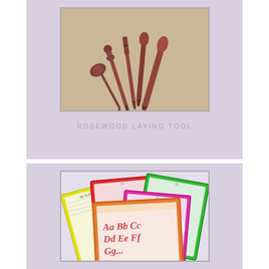[Figure (photo): Photo of rosewood laying tools — several dark reddish-brown wooden tools fanned out on a beige/linen background, with decorative turned handles and pointed tips.]
ROSEWOOD LAYING TOOL
[Figure (photo): Photo of colorful dry-erase activity pouches fanned out, showing red, yellow, green, and pink bordered plastic sleeves containing worksheets with cursive alphabet letters and a clock face.]